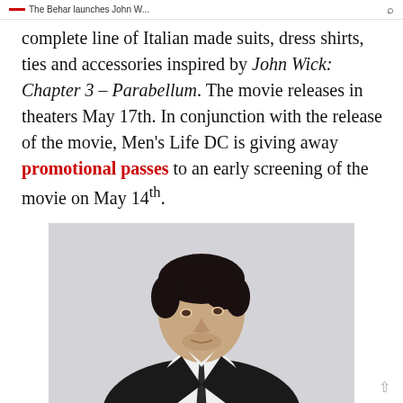The Behar launches John W...
complete line of Italian made suits, dress shirts, ties and accessories inspired by John Wick: Chapter 3 – Parabellum. The movie releases in theaters May 17th. In conjunction with the release of the movie, Men's Life DC is giving away promotional passes to an early screening of the movie on May 14th.
[Figure (photo): Man in dark suit and tie with dark hair, looking to the side, against a light background]